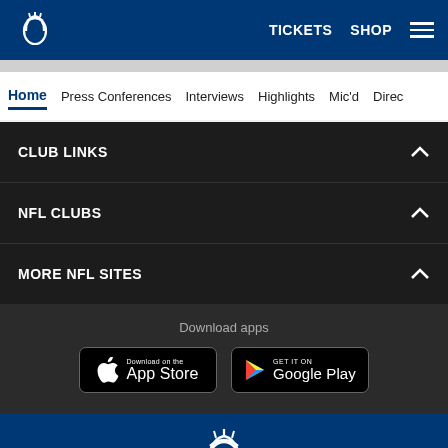[Figure (logo): Indianapolis Colts horseshoe logo in white on blue header]
TICKETS  SHOP  ☰
Home
Press Conferences
Interviews
Highlights
Mic'd
Direc
CLUB LINKS
NFL CLUBS
MORE NFL SITES
Download apps
[Figure (other): Download on the App Store button]
[Figure (other): GET IT ON Google Play button]
[Figure (logo): Indianapolis Colts horseshoe logo in white on blue footer]
COPYRIGHT © 2018 COLTS, INC.